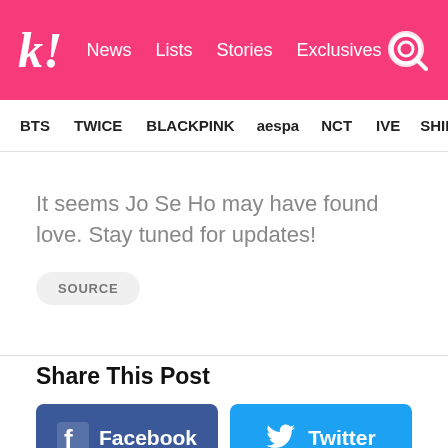k! News Lists Stories Exclusives
BTS TWICE BLACKPINK aespa NCT IVE SHINE
It seems Jo Se Ho may have found love. Stay tuned for updates!
SOURCE
Share This Post
Facebook
Twitter